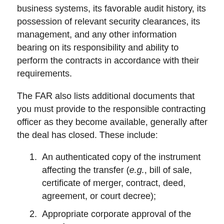business systems, its favorable audit history, its possession of relevant security clearances, its management, and any other information bearing on its responsibility and ability to perform the contracts in accordance with their requirements.
The FAR also lists additional documents that you must provide to the responsible contracting officer as they become available, generally after the deal has closed. These include:
1. An authenticated copy of the instrument affecting the transfer (e.g., bill of sale, certificate of merger, contract, deed, agreement, or court decree);
2. Appropriate corporate approval of the transfer